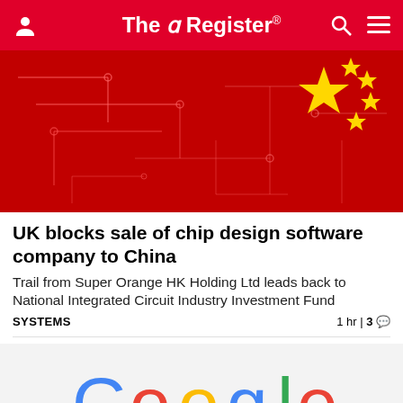The Register
[Figure (photo): Chinese flag overlaid on a red circuit board background with gold stars]
UK blocks sale of chip design software company to China
Trail from Super Orange HK Holding Ltd leads back to National Integrated Circuit Industry Investment Fund
SYSTEMS  1 hr | 3 comments
[Figure (photo): Google logo on white background]